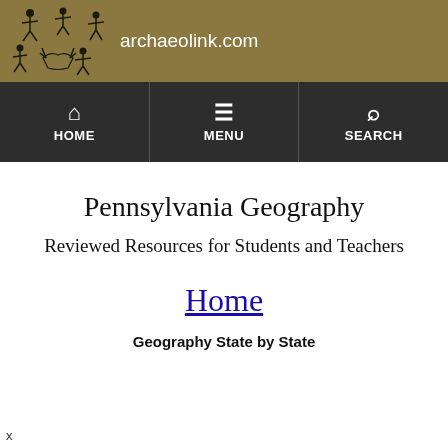archaeolink.com
Pennsylvania Geography
Reviewed Resources for Students and Teachers
Home
Geography State by State